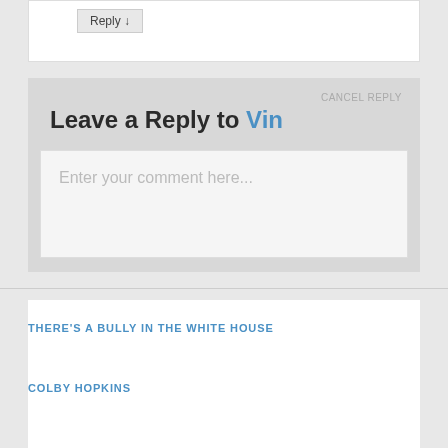[Figure (screenshot): A 'Reply ↓' button element at the top of the page inside a white card]
Leave a Reply to Vin
CANCEL REPLY
Enter your comment here...
THERE'S A BULLY IN THE WHITE HOUSE
COLBY HOPKINS